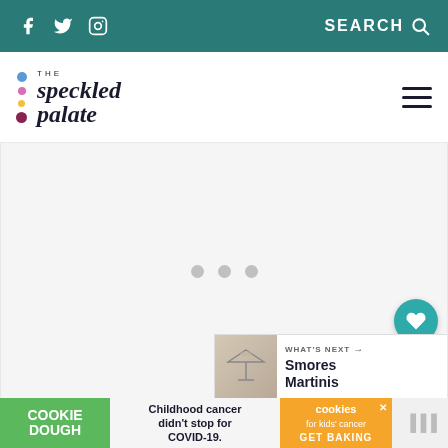Social icons (Facebook, Twitter, Instagram) | SEARCH
[Figure (logo): The Speckled Palate logo with colorful dots and serif italic text]
[Figure (photo): Main content image area loading (three gray dots visible as loading indicator)]
1.3K
WHAT'S NEXT → Smores Martinis
[Figure (photo): Smores Martinis thumbnail image]
Childhood cancer didn't stop for COVID-19. COOKIE DOUGH | cookies for kids' cancer GET BAKING